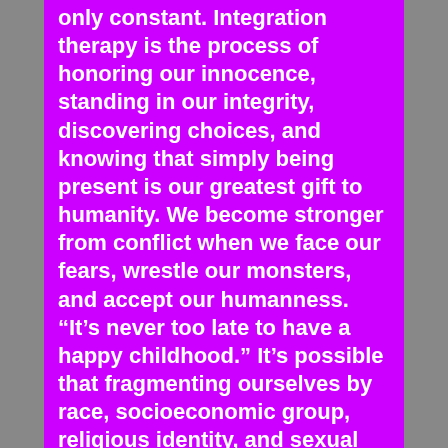only constant. Integration therapy is the process of honoring our innocence, standing in our integrity, discovering choices, and knowing that simply being present is our greatest gift to humanity. We become stronger from conflict when we face our fears, wrestle our monsters, and accept our humanness. “It’s never too late to have a happy childhood.” It’s possible that fragmenting ourselves by race, socioeconomic group, religious identity, and sexual orientation causes distress. Unifying our mind, body, and spark of life brings us grace and ease. Many people think of psychedelics as relics from the hippie generation or something taken by ravers and music festival-goers, but they may one day be used to treat disorders ranging from social anxiety to depression, according to research presented at the annual convention of the American